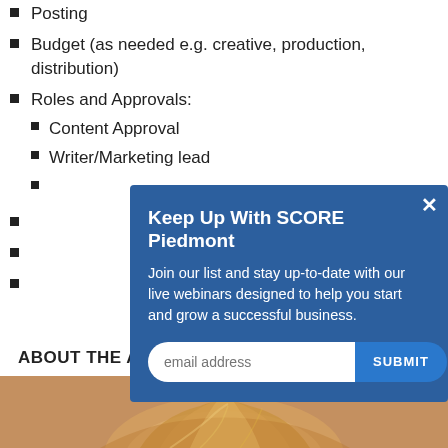Posting
Budget (as needed e.g. creative, production, distribution)
Roles and Approvals:
Content Approval
Writer/Marketing lead
[Figure (screenshot): Modal popup overlay with title 'Keep Up With SCORE Piedmont', subtitle text 'Join our list and stay up-to-date with our live webinars designed to help you start and grow a successful business.', an email address input field and a SUBMIT button. Has a close (x) button in top right corner.]
ABOUT THE AUTHOR(S)
[Figure (photo): Photo of a person with blonde/light hair, partially visible at the bottom of the page]